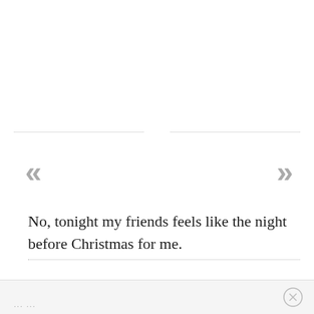No, tonight my friends feels like the night before Christmas for me.
......
......